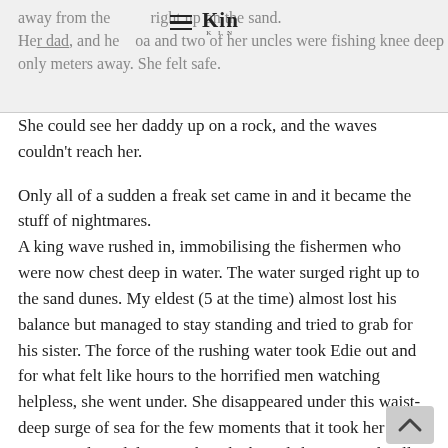away from the [logo/nav] right up on the sand. Her dad, and her noa and two of her uncles were fishing knee deep only meters away. She felt safe.
She could see her daddy up on a rock, and the waves couldn't reach her.
Only all of a sudden a freak set came in and it became the stuff of nightmares.
A king wave rushed in, immobilising the fishermen who were now chest deep in water. The water surged right up to the sand dunes. My eldest (5 at the time) almost lost his balance but managed to stay standing and tried to grab for his sister. The force of the rushing water took Edie out and for what felt like hours to the horrified men watching helpless, she went under. She disappeared under this waist-deep surge of sea for the few moments that it took her uncle to run/wade and dive to where he hoped she was, and pull her up and out.
I still remember my father-in-law's face when he recounted their horror and the sick knots that twisted in my stomach that day. I had to be in the same room as her for days afterwards, grateful that she was alive.
Her little three year old mind processed this occurrence for months